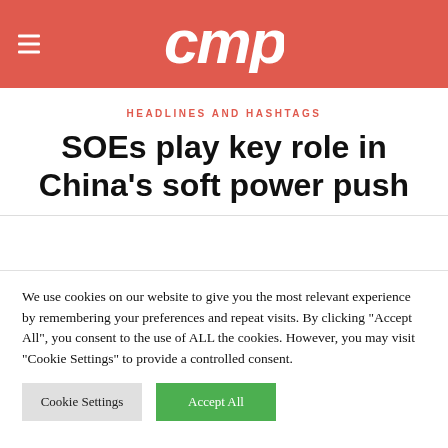CMP logo header with hamburger menu
HEADLINES AND HASHTAGS
SOEs play key role in China's soft power push
We use cookies on our website to give you the most relevant experience by remembering your preferences and repeat visits. By clicking "Accept All", you consent to the use of ALL the cookies. However, you may visit "Cookie Settings" to provide a controlled consent.